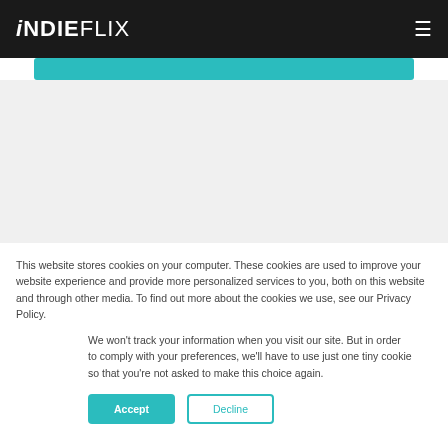iNDIEFLIX
[Figure (screenshot): Teal button bar at top of website content area]
[Figure (screenshot): Light gray website content section]
[Figure (screenshot): Dark/black website content section]
This website stores cookies on your computer. These cookies are used to improve your website experience and provide more personalized services to you, both on this website and through other media. To find out more about the cookies we use, see our Privacy Policy.
We won't track your information when you visit our site. But in order to comply with your preferences, we'll have to use just one tiny cookie so that you're not asked to make this choice again.
Accept  Decline